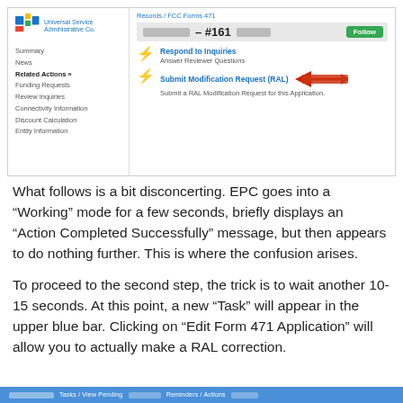[Figure (screenshot): EPC portal screenshot showing Universal Service Administrative Co. sidebar navigation with Summary, News, Related Actions, Funding Requests, Review Inquiries, etc., and main content showing Records / FCC Forms 471, form number #161, with Follow button, two lightning bolt actions: 'Respond to Inquiries - Answer Reviewer Questions' and 'Submit Modification Request (RAL) - Submit a RAL Modification Request for this Application' with a red arrow pointing to it.]
What follows is a bit disconcerting.  EPC goes into a “Working” mode for a few seconds, briefly displays an “Action Completed Successfully” message, but then appears to do nothing further.  This is where the confusion arises.
To proceed to the second step, the trick is to wait another 10-15 seconds.  At this point, a new “Task” will appear in the upper blue bar.  Clicking on “Edit Form 471 Application” will allow you to actually make a RAL correction.